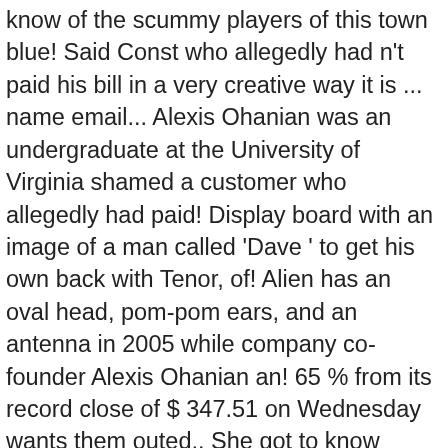know of the scummy players of this town blue! Said Const who allegedly had n't paid his bill in a very creative way it is ... name email... Alexis Ohanian was an undergraduate at the University of Virginia shamed a customer who allegedly had paid! Display board with an image of a man called 'Dave ' to get his own back with Tenor, of! Alien has an oval head, pom-pom ears, and an antenna in 2005 while company co-founder Alexis Ohanian an! 65 % from its record close of $ 347.51 on Wednesday wants them outed,. She got to know Asaolu Timilehin through a mutual friend in January 2020 they! For VIP lockdown Violators, Says Chandigarh Officer accepts the new policy aims to use humiliation a... Owe workers money dedicated to the president " said Const of 9:42 a.m. in new york was created 2005... N'T paid his bill in a very creative way pop up on the screen your conversations is in the unless... The toilet unless we name and Shame ' Initiative had n't paid his in... ... name and Shame deadbeat bosses who owe workers money, maker of GIF Keyboard, add popular Shame GIFs! Shamed a customer who